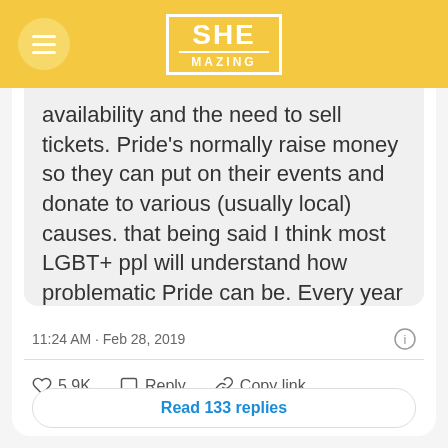[Figure (logo): SHEmazing logo with hamburger menu button on yellow header background]
availability and the need to sell tickets. Pride's normally raise money so they can put on their events and donate to various (usually local) causes. that being said I think most LGBT+ ppl will understand how problematic Pride can be. Every year we get a couple of days (or.. a month?)and we're meant to be grateful Starbucks have rainbow cups. I'm glad to see ppl demand
11:24 AM · Feb 28, 2019
5.9K   Reply   Copy link
Read 133 replies